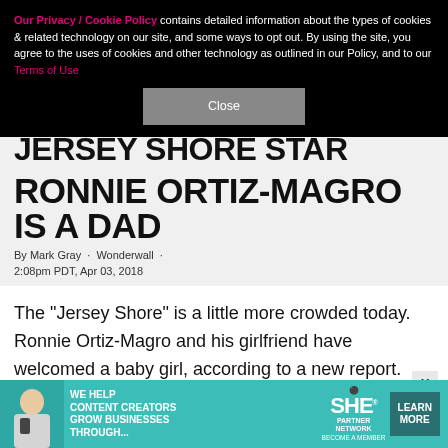Our Privacy / Cookie Policy contains detailed information about the types of cookies & related technology on our site, and some ways to opt out. By using the site, you agree to the uses of cookies and other technology as outlined in our Policy, and to our Terms of Use
Close
JERSEY SHORE STAR RONNIE ORTIZ-MAGRO IS A DAD
By Mark Gray · Wonderwall · 2:08pm PDT, Apr 03, 2018
The "Jersey Shore" is a little more crowded today. Ronnie Ortiz-Magro and his girlfriend have welcomed a baby girl, according to a new report.
[Figure (infographic): Advertisement banner: SHE Media Partner Network - We Help Content Creators Grow Businesses Through... Learn More]